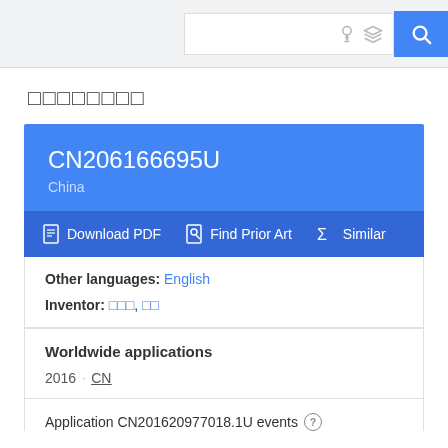Search bar with icons
□□□□□□□□
CN206166695U China
Download PDF  Find Prior Art  Similar
Other languages: English
Inventor: □□□, □□
Worldwide applications
2016 · CN
Application CN201620977018.1U events ?